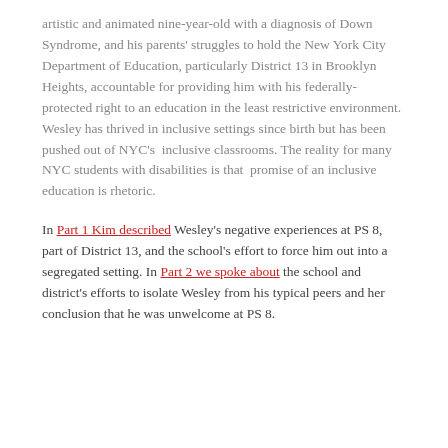artistic and animated nine-year-old with a diagnosis of Down Syndrome, and his parents' struggles to hold the New York City Department of Education, particularly District 13 in Brooklyn Heights, accountable for providing him with his federally-protected right to an education in the least restrictive environment. Wesley has thrived in inclusive settings since birth but has been pushed out of NYC's inclusive classrooms. The reality for many NYC students with disabilities is that promise of an inclusive education is rhetoric.
In Part 1 Kim described Wesley's negative experiences at PS 8, part of District 13, and the school's effort to force him out into a segregated setting. In Part 2 we spoke about the school and district's efforts to isolate Wesley from his typical peers and her conclusion that he was unwelcome at PS 8.